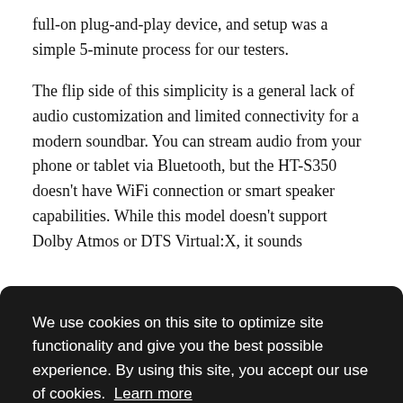full-on plug-and-play device, and setup was a simple 5-minute process for our testers.
The flip side of this simplicity is a general lack of audio customization and limited connectivity for a modern soundbar. You can stream audio from your phone or tablet via Bluetooth, but the HT-S350 doesn't have WiFi connection or smart speaker capabilities. While this model doesn't support Dolby Atmos or DTS Virtual:X, it sounds
ome
We use cookies on this site to optimize site functionality and give you the best possible experience. By using this site, you accept our use of cookies. Learn more
Got it!
[Figure (photo): Partial photo visible in bottom right corner, appears to show a dark colored soundbar or speaker device with reddish/dark tones]